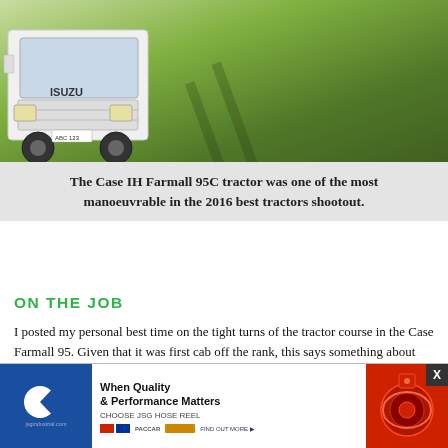[Figure (photo): Photo of an Isuzu truck on the left and a green grass field/landscape on the right]
The Case IH Farmall 95C tractor was one of the most manoeuvrable in the 2016 best tractors shootout.
ON THE JOB
I posted my personal best time on the tight turns of the tractor course in the Case Farmall 95. Given that it was first cab off the rank, this says something about the manoeuvrability of the machine.
Having said that, it was the tractor I was the closest to actually tipping over. This I think has a lot to do with the heavy m... fitted to the F... ined loaders... r high-tensile... lanted
[Figure (advertisement): JSG Industrial advertisement: When Quality & Performance Matters, CHOOSE JSG HOSE REEL, with Paccar logo and hose reel product image]